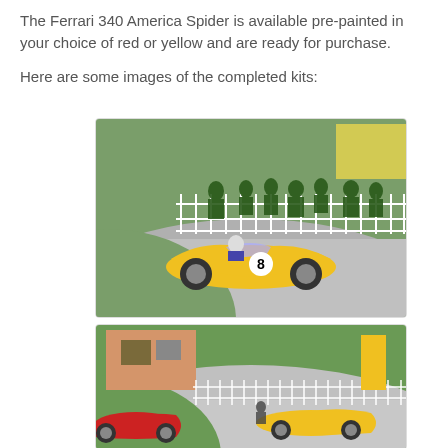The Ferrari 340 America Spider is available pre-painted in your choice of red or yellow and are ready for purchase.

Here are some images of the completed kits:
[Figure (photo): A yellow Ferrari 340 America Spider model car numbered 8 on a slot car racing track, with miniature spectator figures and a white picket fence in the background.]
[Figure (photo): A yellow Ferrari 340 America Spider model car on a slot car racing track with a red car partially visible, showing a miniature racing diorama with buildings and a white picket fence in the background.]